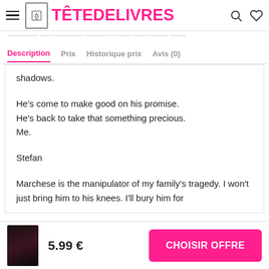TÊTEDELIVRES
Description | Prix | Historique prix | Avis (0)
shadows.
He's come to make good on his promise.
He's back to take that something precious.
Me.
Stefan
Marchese is the manipulator of my family's tragedy. I won't just bring him to his knees. I'll bury him for
5.99 €
CHOISIR OFFRE